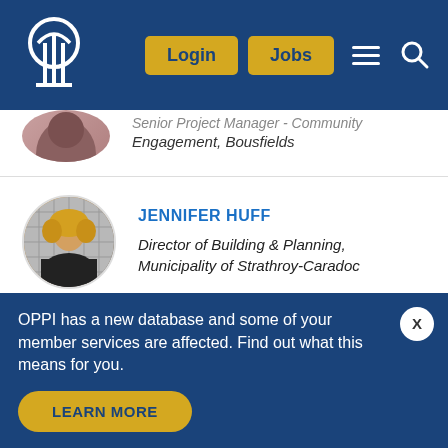[Figure (screenshot): Website navigation bar with OPPI logo (tree/columns icon), Login and Jobs buttons in gold, hamburger menu icon and search icon on dark blue background]
[Figure (photo): Partial circular headshot of a dark-haired woman, cropped at top of page]
Senior Project Manager - Community Engagement, Bousfields
[Figure (photo): Circular headshot of Jennifer Huff, a woman with blond curly hair wearing a dark top, photographed in front of a grid/lattice background]
JENNIFER HUFF
Director of Building & Planning, Municipality of Strathroy-Caradoc
[Figure (photo): Partial circular headshot of a dark-haired woman at bottom of visible content area]
OPPI has a new database and some of your member services are affected. Find out what this means for you.
LEARN MORE